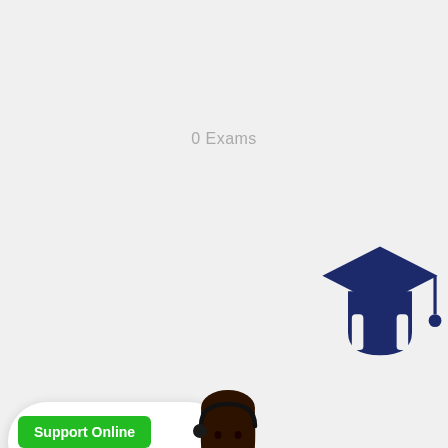0 Exams
[Figure (illustration): Dark navy blue graduation cap / mortarboard icon with tassel, large size, centered in upper-right area]
[Figure (illustration): Customer support woman with headset in blue shirt holding hand out, with a green 'Support Online' button/badge on the left side]
S Certification
1 Exams
[Figure (illustration): Dark navy blue graduation cap / mortarboard icon with tassel, medium size, centered in lower area]